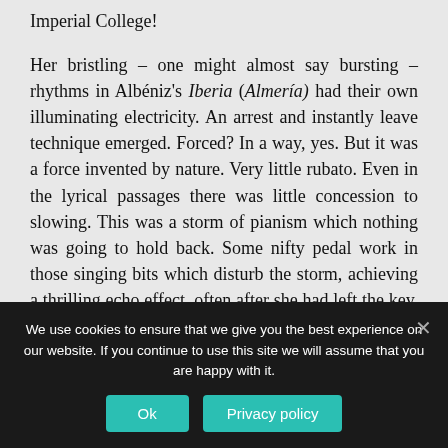Imperial College!
Her bristling – one might almost say bursting – rhythms in Albéniz's Iberia (Almería) had their own illuminating electricity. An arrest and instantly leave technique emerged. Forced? In a way, yes. But it was a force invented by nature. Very little rubato. Even in the lyrical passages there was little concession to slowing. This was a storm of pianism which nothing was going to hold back. Some nifty pedal work in those singing bits which disturb the storm, achieving a thrilling echo effect, often after she had left the key. She has learned to phrase her chords into the rests, where
We use cookies to ensure that we give you the best experience on our website. If you continue to use this site we will assume that you are happy with it.